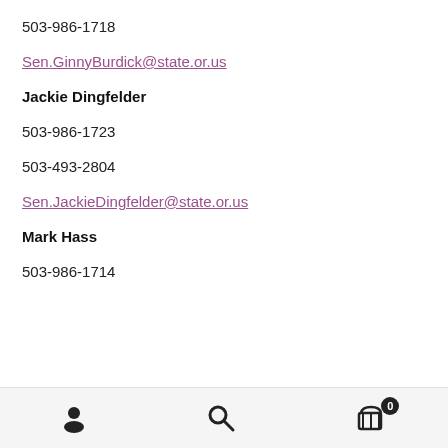503-986-1718
Sen.GinnyBurdick@state.or.us
Jackie Dingfelder
503-986-1723
503-493-2804
Sen.JackieDingfelder@state.or.us
Mark Hass
503-986-1714
Navigation bar with user, search, and cart icons